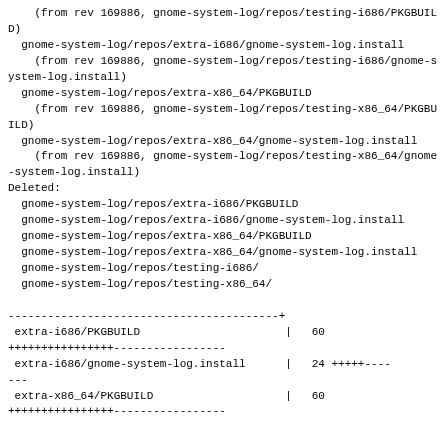(from rev 169886, gnome-system-log/repos/testing-i686/PKGBUILD)
  gnome-system-log/repos/extra-i686/gnome-system-log.install
    (from rev 169886, gnome-system-log/repos/testing-i686/gnome-system-log.install)
  gnome-system-log/repos/extra-x86_64/PKGBUILD
    (from rev 169886, gnome-system-log/repos/testing-x86_64/PKGBUILD)
  gnome-system-log/repos/extra-x86_64/gnome-system-log.install
    (from rev 169886, gnome-system-log/repos/testing-x86_64/gnome-system-log.install)
Deleted:
  gnome-system-log/repos/extra-i686/PKGBUILD
  gnome-system-log/repos/extra-i686/gnome-system-log.install
  gnome-system-log/repos/extra-x86_64/PKGBUILD
  gnome-system-log/repos/extra-x86_64/gnome-system-log.install
  gnome-system-log/repos/testing-i686/
  gnome-system-log/repos/testing-x86_64/

-----------------------------------------+
 extra-i686/PKGBUILD                      |   60
++++++++++++++++-----------------
 extra-i686/gnome-system-log.install      |   24 +++++----
---
 extra-x86_64/PKGBUILD                    |   60
++++++++++++++++-----------------